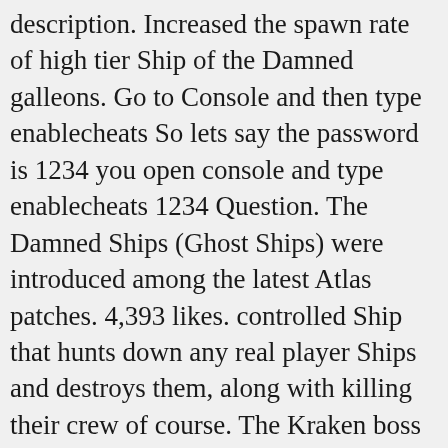description. Increased the spawn rate of high tier Ship of the Damned galleons. Go to Console and then type enablecheats So lets say the password is 1234 you open console and type enablecheats 1234 Question. The Damned Ships (Ghost Ships) were introduced among the latest Atlas patches. 4,393 likes. controlled Ship that hunts down any real player Ships and destroys them, along with killing their crew of course. The Kraken boss fight is tough. Kreken will also start shooting giant homing sparkles into his aggro target. Join. Rent your own prepaid Atlas server today at Nitrado.net. The Atlas server grid editor is a project developed by Grapeshot Games which allows users to easily customize their server by generating custom JSON files. This is a small guide on how to spawn animals and creates on private Atlas game servers. atlas cheat summon ship the damned, adjust the shipbuilding you can spawn on one craft. 22.9k. I can